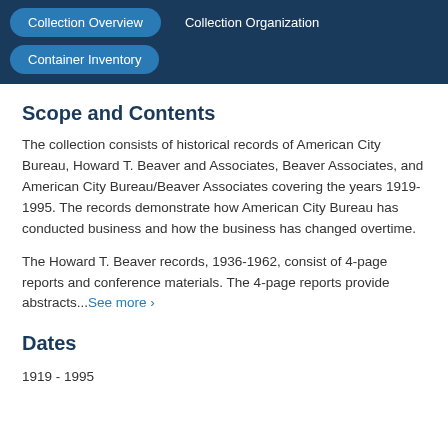Collection Overview  Collection Organization  Container Inventory
Scope and Contents
The collection consists of historical records of American City Bureau, Howard T. Beaver and Associates, Beaver Associates, and American City Bureau/Beaver Associates covering the years 1919-1995. The records demonstrate how American City Bureau has conducted business and how the business has changed overtime.
The Howard T. Beaver records, 1936-1962, consist of 4-page reports and conference materials. The 4-page reports provide abstracts...See more ›
Dates
1919 - 1995